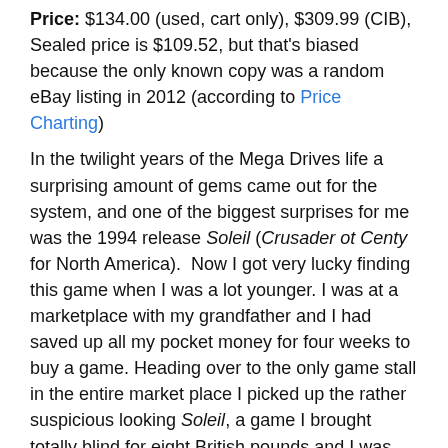Price: $134.00 (used, cart only), $309.99 (CIB), Sealed price is $109.52, but that's biased because the only known copy was a random eBay listing in 2012 (according to Price Charting)
In the twilight years of the Mega Drives life a surprising amount of gems came out for the system, and one of the biggest surprises for me was the 1994 release Soleil (Crusader ot Centy for North America).  Now I got very lucky finding this game when I was a lot younger. I was at a marketplace with my grandfather and I had saved up all my pocket money for four weeks to buy a game. Heading over to the only game stall in the entire market place I picked up the rather suspicious looking Soleil, a game I brought totally blind for eight British pounds and I was very impressed with what I found. Several years later, and revisiting the game, lets see how it holds up today.